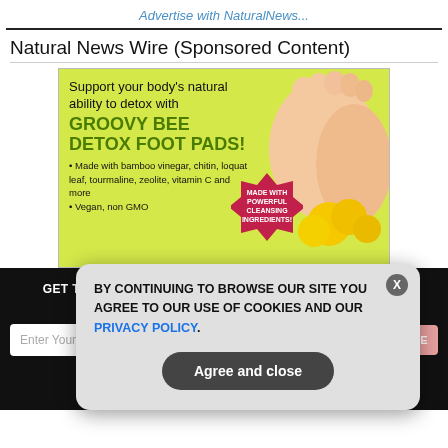Advertise with NaturalNews...
Natural News Wire (Sponsored Content)
[Figure (illustration): Advertisement for Groovy Bee Detox Foot Pads on a yellow-green background with feet and dandelions. Text: Support your body's natural ability to detox with GROOVY BEE DETOX FOOT PADS! Made with bamboo vinegar, chitin, loquat leaf, tourmaline, zeolite, vitamin C and more. Vegan, non GMO. Badge: MADE WITH POWERFUL CLEANSING INGREDIENTS!]
GET THE WORLD'S BEST NATURAL HEALTH NEWSLETTER DELIVERED STRAIGHT TO YOUR INBOX
Enter Your Email Address
SUBSCRIBE
BY CONTINUING TO BROWSE OUR SITE YOU AGREE TO OUR USE OF COOKIES AND OUR PRIVACY POLICY.
Agree and close